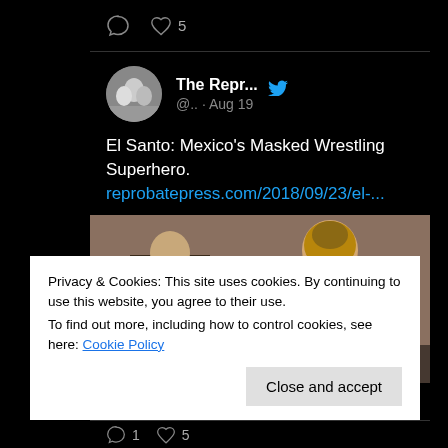[Figure (screenshot): Twitter/social media interface showing a tweet from 'The Repr...' account (@..) dated Aug 19, with comment and heart icons showing 5 likes]
The Repr...
@.. · Aug 19
El Santo: Mexico's Masked Wrestling Superhero. reprobatepress.com/2018/09/23/el-...
[Figure (photo): Image showing two people, one in a suit with a gun and another wearing a wrestling mask (El Santo style), muscular shirtless figure]
Privacy & Cookies: This site uses cookies. By continuing to use this website, you agree to their use.
To find out more, including how to control cookies, see here: Cookie Policy
Close and accept